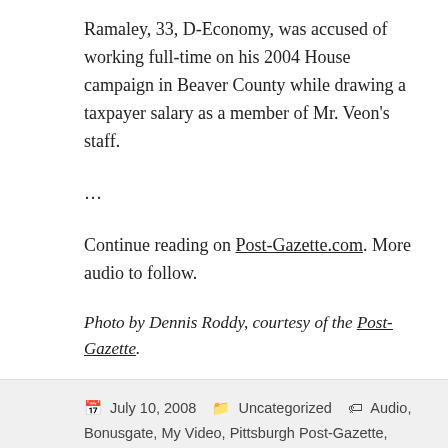Ramaley, 33, D-Economy, was accused of working full-time on his 2004 House campaign in Beaver County while drawing a taxpayer salary as a member of Mr. Veon’s staff.
…
Continue reading on Post-Gazette.com. More audio to follow.
Photo by Dennis Roddy, courtesy of the Post-Gazette.
July 10, 2008  Uncategorized  Audio, Bonusgate, My Video, Pittsburgh Post-Gazette, PLCA  Leave a comment
Post-Gazette: Turnpike lease stuck in committee [with